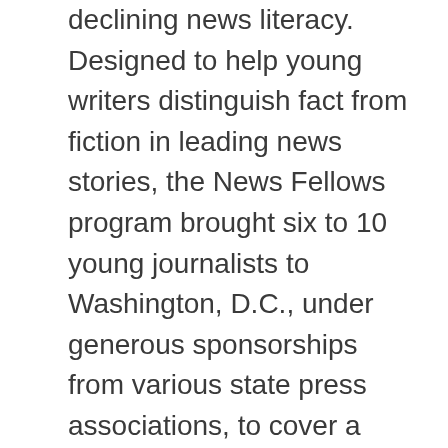declining news literacy. Designed to help young writers distinguish fact from fiction in leading news stories, the News Fellows program brought six to 10 young journalists to Washington, D.C., under generous sponsorships from various state press associations, to cover a national news story written for their local audiences during NNA's Community Newspaper Summit/Day on the Hill.

Pub Aux wanted to know: where are they now? And what do they have to say about their intense three-day introduction into